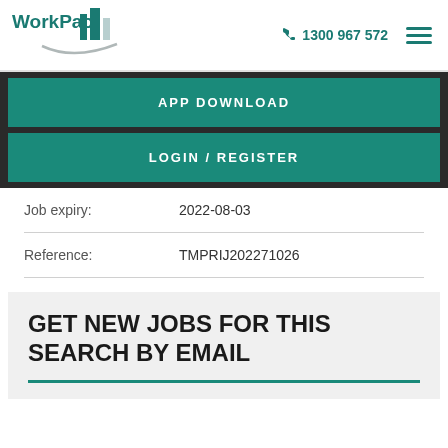[Figure (logo): WorkPac logo with teal building graphic and swoosh]
1300 967 572
APP DOWNLOAD
LOGIN / REGISTER
| Job expiry: | 2022-08-03 |
| Reference: | TMPRIJ202271026 |
GET NEW JOBS FOR THIS SEARCH BY EMAIL